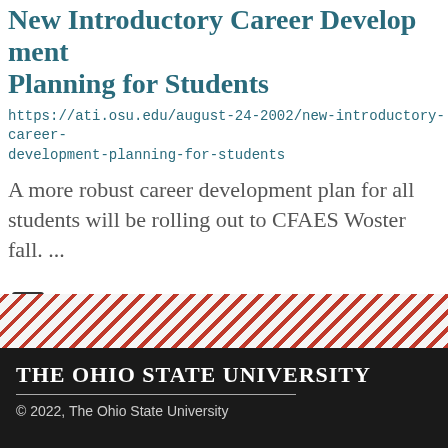New Introductory Career Development Planning for Students
https://ati.osu.edu/august-24-2002/new-introductory-career-development-planning-for-students
A more robust career development plan for all students will be rolling out to CFAES Wooster fall. ...
1 2 3 4 5 6 7 8 9 ... next
[Figure (other): Diagonal red and white striped decorative band]
The Ohio State University
© 2022, The Ohio State University